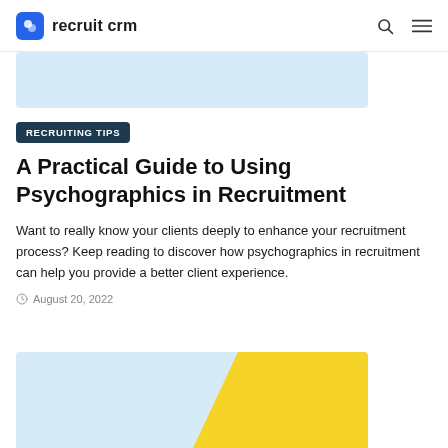recruit crm
[Figure (illustration): Light blue banner image strip at top of article]
RECRUITING TIPS
A Practical Guide to Using Psychographics in Recruitment
Want to really know your clients deeply to enhance your recruitment process? Keep reading to discover how psychographics in recruitment can help you provide a better client experience.
August 20, 2022
[Figure (illustration): Light blue and yellow decorative banner image at bottom of page]